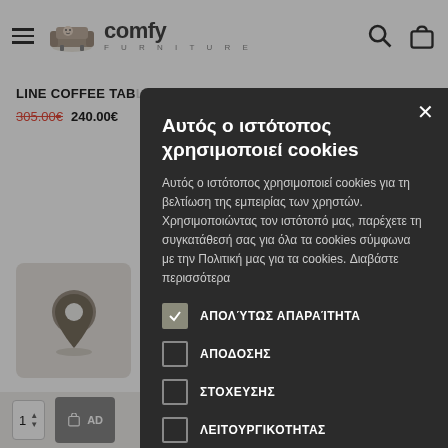[Figure (screenshot): Comfy Furniture website navigation bar with hamburger menu, logo (sofa icon + 'comfy FURNITURE' text), search icon, and shopping bag icon]
LINE COFFEE TABLE
305.00€  240.00€
Αυτός ο ιστότοπος χρησιμοποιεί cookies
Αυτός ο ιστότοπος χρησιμοποιεί cookies για τη βελτίωση της εμπειρίας των χρηστών. Χρησιμοποιώντας τον ιστότοπό μας, παρέχετε τη συγκατάθεσή σας για όλα τα cookies σύμφωνα με την Πολιτική μας για τα cookies. Διαβάστε περισσότερα
ΑΠΟΛΎΤΩΣ ΑΠΑΡΑΊΤΗΤΑ
ΑΠΟΔΟΣΗΣ
ΣΤΟΧΕΥΣΗΣ
ΛΕΙΤΟΥΡΓΙΚΟΤΗΤΑΣ
ΑΠΟΔΟΧΉ ΌΛΩΝ
ΑΠΟΡΡΙΨΗ ΌΛΩΝ